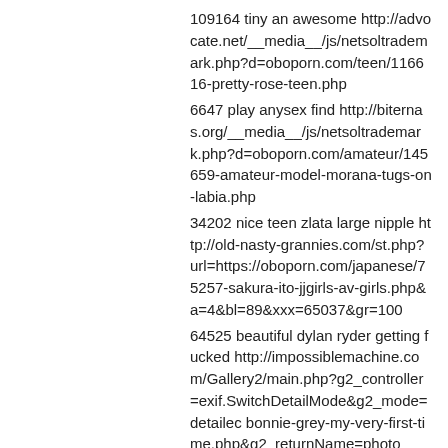109164 tiny an awesome http://advocate.net/__media__/js/netsoltrademark.php?d=oboporn.com/teen/116616-pretty-rose-teen.php
6647 play anysex find http://biternas.org/__media__/js/netsoltrademark.php?d=oboporn.com/amateur/145659-amateur-model-morana-tugs-on-labia.php
34202 nice teen zlata large nipple http://old-nasty-grannies.com/st.php?url=https://oboporn.com/japanese/75257-sakura-ito-jjgirls-av-girls.php&a=4&bl=89&xxx=65037&gr=100
64525 beautiful dylan ryder getting fucked http://impossiblemachine.com/Gallery2/main.php?g2_controller=exif.SwitchDetailMode&g2_mode=detailec bonnie-grey-my-very-first-time.php&g2_returnName=photo
27058 hotty stop summer st claire cute http://www.nippon-furusato.jp/affiliate/link.php?id=N0000002&adwares=A0000001&url=https://oboporr